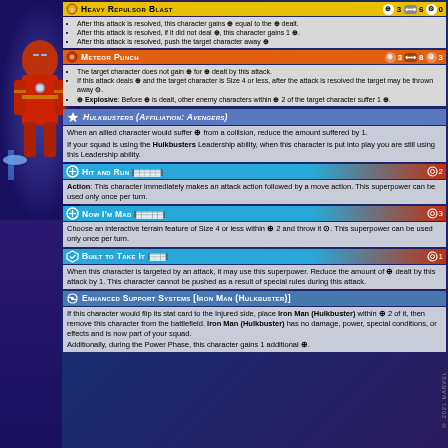Heavy Repulsor Blast — Range 3, Strength 6, Power 0
After this attack is resolved, this character gains ⊕ equal to the ⊕ dealt.
After this attack is resolved, if it did not deal ⊕, this character gains 1 ⊕.
After this attack is resolved, push the target character away ⊕
Meteor Punch — Range 3, Strength 8, Power 3
The target character does not gain ⊕ for ⊕ dealt by this attack.
If this attack deals ⊕ and the target character is Size 4 or less, after the attack is resolved the target may be thrown away ⊙.
⊕ Explosive: Before ⊕ is dealt, other enemy characters within ⊕ 2 of the target character suffer 1 ⊕.
Hulkbusters (Affiliation: Avengers)
When an allied character would suffer ⊕ from a collision, reduce the amount suffered by 1.
If your squad is using the Hulkbusters Leadership ability, when this character is put into play you are still using this Leadership ability.
Hit and Run — Cost 2
Action: This character immediately makes an attack action followed by a move action. This superpower can be used only once per turn.
Now I'm Mad — Cost 3
Choose an interactive terrain feature of Size 4 or less within ⊕ 2 and throw it ⊙. This superpower can be used only once per turn.
Built to Take It — Cost 1
When this character is targeted by an attack, it may use this superpower. Reduce the amount of ⊕ dealt by this attack by 1. This character cannot be pushed as a result of special rules during this attack.
Enhanced Support Systems [Iron Man (Hulkbuster)]
If this character would flip its stat card to the Injured side, place Iron Man (Hulkbuster) within ⊕ 2 of it, then remove this character from the battlefield. Iron Man (Hulkbuster) has no damage, power, special conditions, or effects and is now part of your squad.
Additionally, during the Power Phase, this character gains 1 additional ⊕.